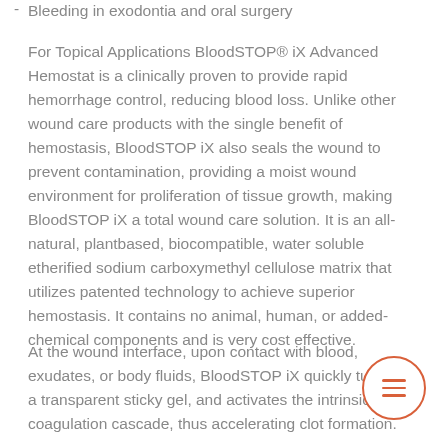Bleeding in exodontia and oral surgery
For Topical Applications BloodSTOP® iX Advanced Hemostat is a clinically proven to provide rapid hemorrhage control, reducing blood loss. Unlike other wound care products with the single benefit of hemostasis, BloodSTOP iX also seals the wound to prevent contamination, providing a moist wound environment for proliferation of tissue growth, making BloodSTOP iX a total wound care solution. It is an all-natural, plantbased, biocompatible, water soluble etherified sodium carboxymethyl cellulose matrix that utilizes patented technology to achieve superior hemostasis. It contains no animal, human, or added-chemical components and is very cost effective.
At the wound interface, upon contact with blood, exudates, or body fluids, BloodSTOP iX quickly turns into a transparent sticky gel, and activates the intrinsic coagulation cascade, thus accelerating clot formation. The…